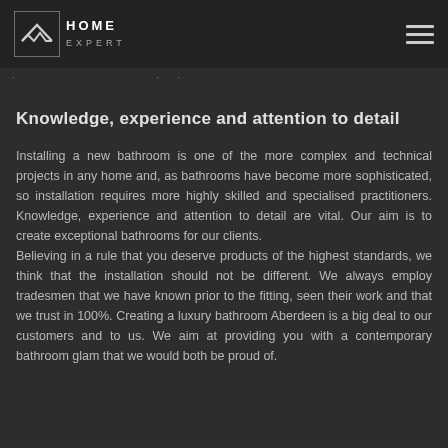HOME EXPERT
Knowledge, experience and attention to detail
Installing a new bathroom is one of the more complex and technical projects in any home and, as bathrooms have become more sophisticated, so installation requires more highly skilled and specialised practitioners. Knowledge, experience and attention to detail are vital. Our aim is to create exceptional bathrooms for our clients. Believing in a rule that you deserve products of the highest standards, we think that the installation should not be different. We always employ tradesmen that we have known prior to the fitting, seen their work and that we trust in 100%. Creating a luxury bathroom Aberdeen is a big deal to our customers and to us. We aim at providing you with a contemporary bathroom glam that we would both be proud of.